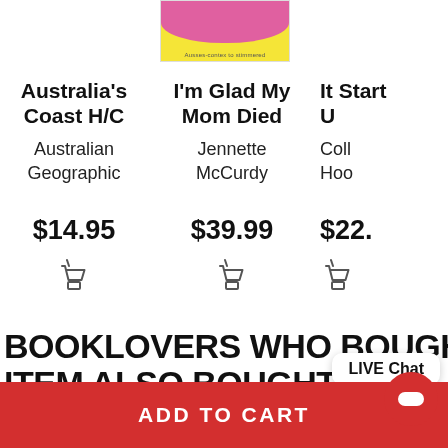[Figure (screenshot): Partial book cover with pink and yellow colors visible at top]
Australia's Coast H/C
Australian Geographic
$14.95
I'm Glad My Mom Died
Jennette McCurdy
$39.99
It Start U
Coll Hoo
$22.
BOOKLOVERS WHO BOUGHT THIS ITEM ALSO BOUGHT
LIVE Chat
ADD TO CART